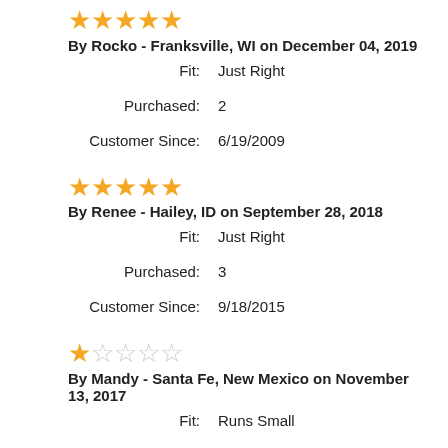★★★★★ (5 stars) By Rocko - Franksville, WI on December 04, 2019
Fit: Just Right
Purchased: 2
Customer Since: 6/19/2009
★★★★★ (5 stars) By Renee - Hailey, ID on September 28, 2018
Fit: Just Right
Purchased: 3
Customer Since: 9/18/2015
★☆☆☆☆ (1 star) By Mandy - Santa Fe, New Mexico on November 13, 2017
Fit: Runs Small